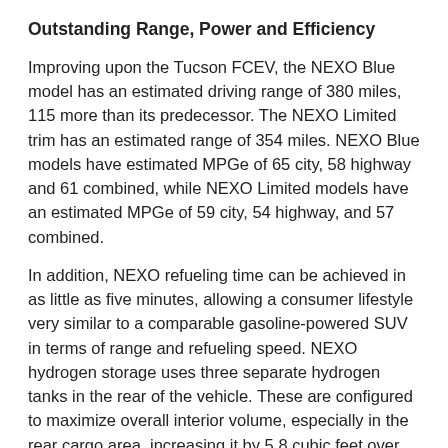Outstanding Range, Power and Efficiency
Improving upon the Tucson FCEV, the NEXO Blue model has an estimated driving range of 380 miles, 115 more than its predecessor. The NEXO Limited trim has an estimated range of 354 miles. NEXO Blue models have estimated MPGe of 65 city, 58 highway and 61 combined, while NEXO Limited models have an estimated MPGe of 59 city, 54 highway, and 57 combined.
In addition, NEXO refueling time can be achieved in as little as five minutes, allowing a consumer lifestyle very similar to a comparable gasoline-powered SUV in terms of range and refueling speed. NEXO hydrogen storage uses three separate hydrogen tanks in the rear of the vehicle. These are configured to maximize overall interior volume, especially in the rear cargo area, increasing it by 5.8 cubic feet over the Tucson Fuel Cell and allowing for a flatter load floor.